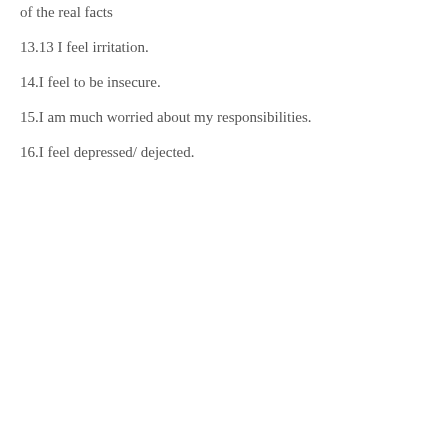of the real facts
13.13 I feel irritation.
14.I feel to be insecure.
15.I am much worried about my responsibilities.
16.I feel depressed/ dejected.